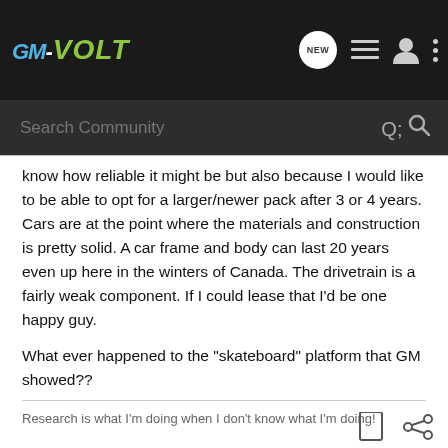GM-VOLT
know how reliable it might be but also because I would like to be able to opt for a larger/newer pack after 3 or 4 years. Cars are at the point where the materials and construction is pretty solid. A car frame and body can last 20 years even up here in the winters of Canada. The drivetrain is a fairly weak component. If I could lease that I'd be one happy guy.
What ever happened to the "skateboard" platform that GM showed??
Research is what I'm doing when I don't know what I'm doing!